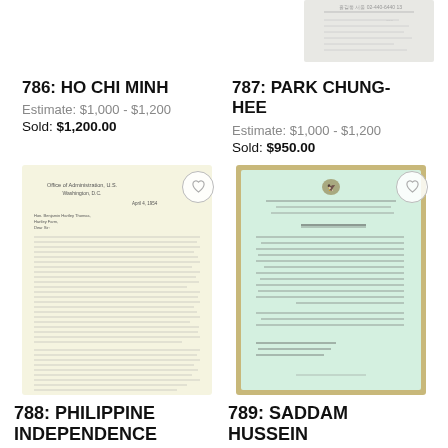[Figure (photo): Partial document image visible at top right corner, appears to be a letter or document with text, partially cropped]
786: HO CHI MINH
Estimate: $1,000 - $1,200
Sold: $1,200.00
787: PARK CHUNG-HEE
Estimate: $1,000 - $1,200
Sold: $950.00
[Figure (photo): Auction lot 788: A typed letter on letterhead, cream/yellow paper, with small dense text, official-looking correspondence]
[Figure (photo): Auction lot 789: An official document with Arabic text on light green paper with decorative gold border and an eagle emblem at top]
788: PHILIPPINE INDEPENDENCE
789: SADDAM HUSSEIN